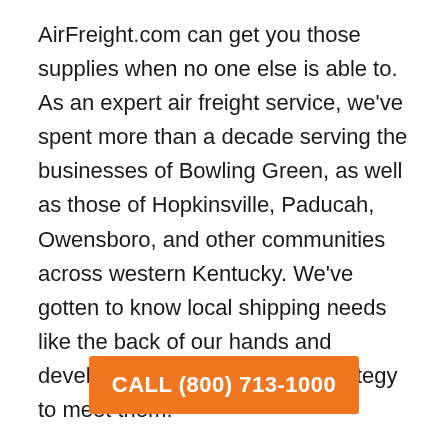AirFreight.com can get you those supplies when no one else is able to. As an expert air freight service, we've spent more than a decade serving the businesses of Bowling Green, as well as those of Hopkinsville, Paducah, Owensboro, and other communities across western Kentucky. We've gotten to know local shipping needs like the back of our hands and developed a comprehensive strategy to meet them.
CALL (800) 713-1000